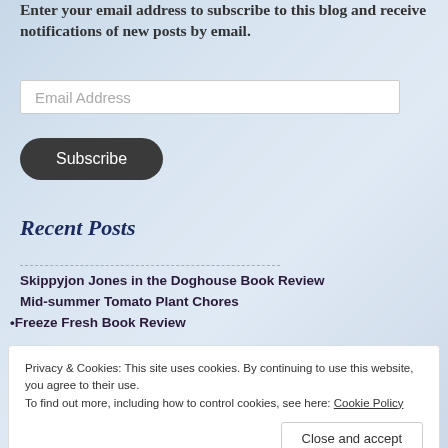Enter your email address to subscribe to this blog and receive notifications of new posts by email.
Email Address
Subscribe
Recent Posts
Skippyjon Jones in the Doghouse Book Review
Mid-summer Tomato Plant Chores
Freeze Fresh Book Review
Privacy & Cookies: This site uses cookies. By continuing to use this website, you agree to their use. To find out more, including how to control cookies, see here: Cookie Policy
Close and accept